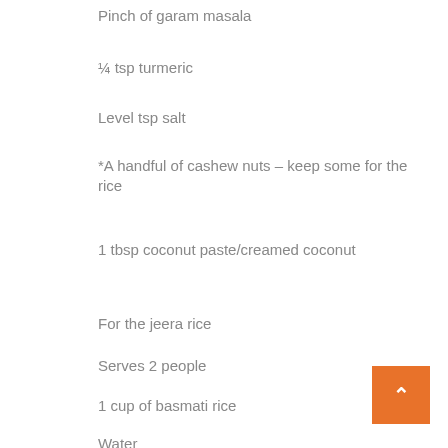Pinch of garam masala
¼ tsp turmeric
Level tsp salt
*A handful of cashew nuts – keep some for the rice
1 tbsp coconut paste/creamed coconut
For the jeera rice
Serves 2 people
1 cup of basmati rice
Water
Salt (as needed)
50 grams of butter